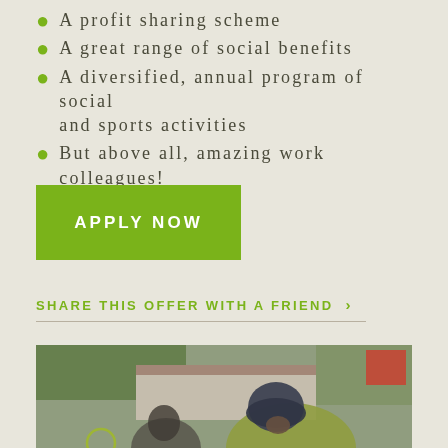A profit-sharing scheme
A great range of social benefits
A diversified, annual program of social and sports activities
But above all, amazing work colleagues!
APPLY NOW
SHARE THIS OFFER WITH A FRIEND ›
[Figure (photo): Photo of workers from behind, wearing high-visibility vests and caps, outdoors near vehicles and buildings]